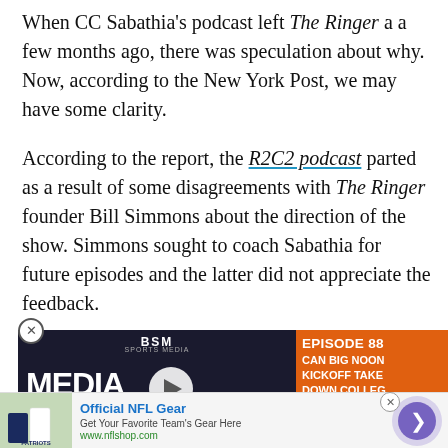When CC Sabathia's podcast left The Ringer a a few months ago, there was speculation about why. Now, according to the New York Post, we may have some clarity.
According to the report, the R2C2 podcast parted as a result of some disagreements with The Ringer founder Bill Simmons about the direction of the show. Simmons sought to coach Sabathia for future episodes and the latter did not appreciate the feedback.
[Figure (screenshot): A video ad for BSM Media Noise podcast episode, Episode 88, with topics including Can Big Noon Kickoff Take Down College Gameday, overlaid on the article content. Play button visible. Orange panel on right with episode details and College Gameday / Fox Big Noon logos at bottom.]
[Figure (screenshot): Bottom advertisement for Official NFL Gear from nflshop.com. Shows NFL team jerseys image on left, text 'Official NFL Gear - Get Your Favorite Team's Gear Here - www.nflshop.com' in center, and a purple arrow button on right.]